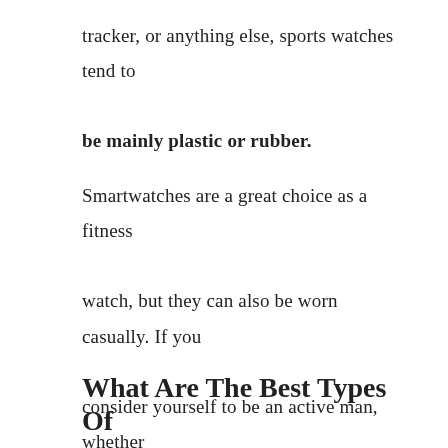tracker, or anything else, sports watches tend to be mainly plastic or rubber.
Smartwatches are a great choice as a fitness watch, but they can also be worn casually. If you consider yourself to be an active man, whether it be through working out, running, or simply enjoying the outdoors, you should consider having a strong sports watch in your collection.
What Are The Best Types Of